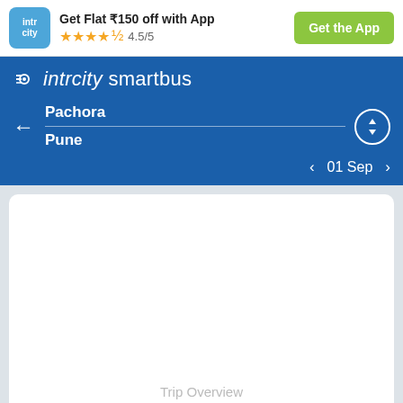[Figure (screenshot): IntrCity app logo - blue rounded square with 'intr city' text in white]
Get Flat ₹150 off with App
★★★★½ 4.5/5
Get the App
intrcity smartbus
← Pachora / Pune
< 01 Sep >
Trip Overview
Bus Information Between Pachora & Pune